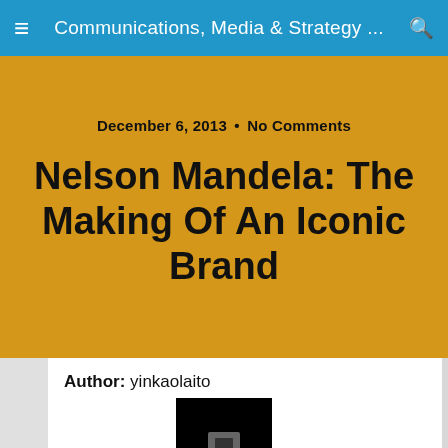Communications, Media & Strategy ...
December 6, 2013 • No Comments
Nelson Mandela: The Making Of An Iconic Brand
Author: yinkaolaito
[Figure (photo): Small portrait photo of author yinkaolaito, shown on a black background]
Yinka Olaito is happy,excited and passionate Communications & Media specialist, Trainer and